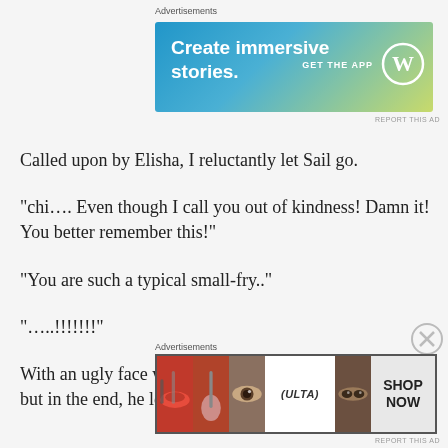[Figure (other): Advertisement banner: 'Create immersive stories. GET THE APP' with WordPress logo, gradient blue-green background]
Called upon by Elisha, I reluctantly let Sail go.
“chi…. Even though I call you out of kindness! Damn it! You better remember this!”
“You are such a typical small-fry..”
“…..!!!!!!!”
With an ugly face warped from anger, Sail glared at me, but in the end, he left the canteen unable to do anything.
[Figure (other): Advertisement banner: ULTA beauty products collage with lip, makeup brush, eye, ULTA logo, and 'SHOP NOW' button]